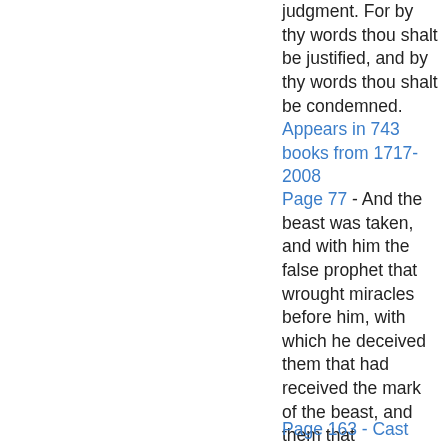judgment. For by thy words thou shalt be justified, and by thy words thou shalt be condemned.
Appears in 743 books from 1717-2008
Page 77 - And the beast was taken, and with him the false prophet that wrought miracles before him, with which he deceived them that had received the mark of the beast, and them that worshipped his image ; these both were cast alive into a lake of fire burning with brimstone.
Appears in 893 books from 1755-2008
Page 163 - Cast away...